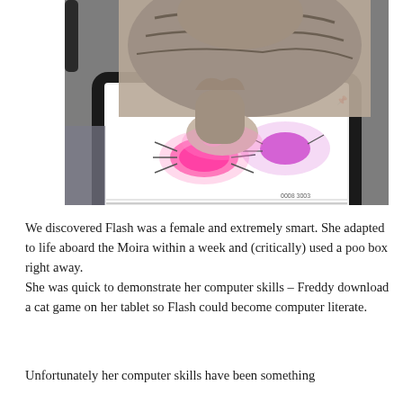[Figure (photo): A kitten pressing its paw on a tablet screen showing a cat game with glowing pink interactive elements that look like bugs or creatures on a white background.]
We discovered Flash was a female and extremely smart. She adapted to life aboard the Moira within a week and (critically) used a poo box right away.
She was quick to demonstrate her computer skills – Freddy download a cat game on her tablet so Flash could become computer literate.
Unfortunately her computer skills have been something